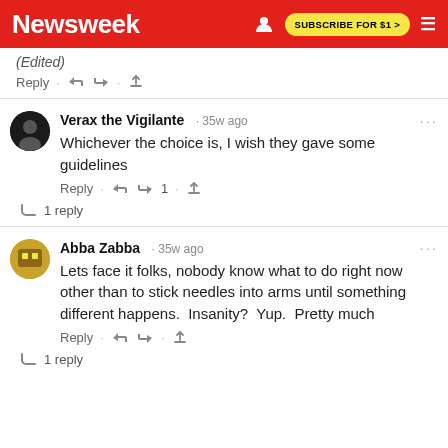Newsweek | SUBSCRIBE FOR $1 >
(Edited)
Reply · 👍 👎 · ⬆
Verax the Vigilante · 35w ago
Whichever the choice is, I wish they gave some guidelines
Reply · 👍 👎 1 · ⬆
↳ 1 reply
Abba Zabba · 35w ago
Lets face it folks, nobody know what to do right now other than to stick needles into arms until something different happens.  Insanity?  Yup.  Pretty much
Reply · 👍 👎 · ⬆
↳ 1 reply